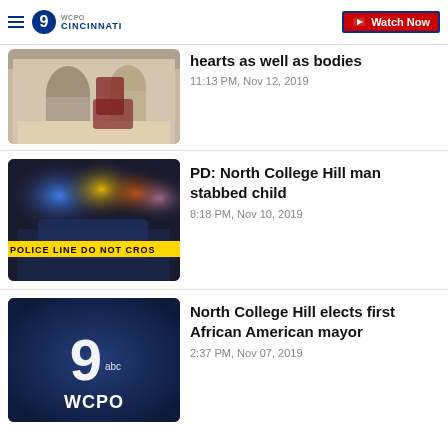WCPO 9 CINCINNATI — Watch Now
hearts as well as bodies
11:13 PM, Nov 12, 2019
PD: North College Hill man stabbed child
8:18 PM, Nov 10, 2019
North College Hill elects first African American mayor
2:37 PM, Nov 07, 2019